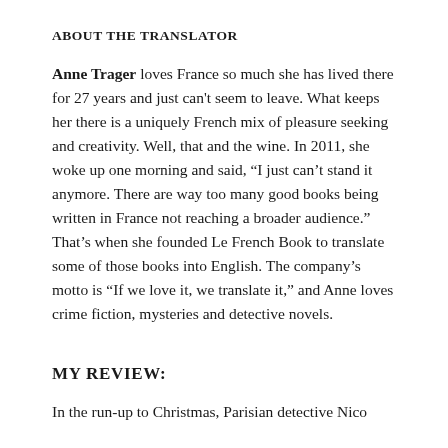ABOUT THE TRANSLATOR
Anne Trager loves France so much she has lived there for 27 years and just can't seem to leave. What keeps her there is a uniquely French mix of pleasure seeking and creativity. Well, that and the wine. In 2011, she woke up one morning and said, “I just can’t stand it anymore. There are way too many good books being written in France not reaching a broader audience.” That’s when she founded Le French Book to translate some of those books into English. The company’s motto is “If we love it, we translate it,” and Anne loves crime fiction, mysteries and detective novels.
My Review:
In the run-up to Christmas, Parisian detective Nico